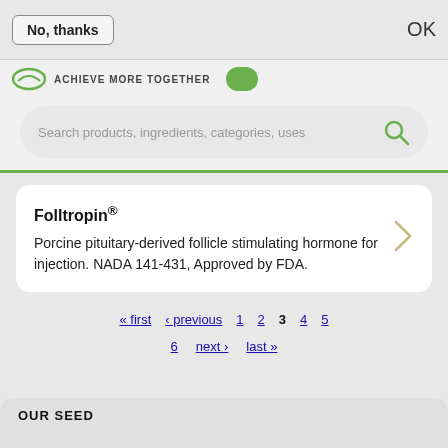No, thanks
OK
[Figure (logo): Green circular logo with 'ACHIEVE MORE TOGETHER' text and green button]
Search products, ingredients, categories, uses
Folltropin®
Porcine pituitary-derived follicle stimulating hormone for injection. NADA 141-431, Approved by FDA.
« first  ‹ previous  1  2  3  4  5  6  next ›  last »
OUR SEED